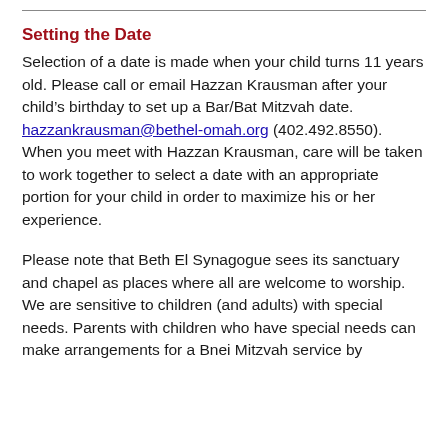Setting the Date
Selection of a date is made when your child turns 11 years old. Please call or email Hazzan Krausman after your child's birthday to set up a Bar/Bat Mitzvah date. hazzankrausman@bethel-omah.org (402.492.8550). When you meet with Hazzan Krausman, care will be taken to work together to select a date with an appropriate portion for your child in order to maximize his or her experience.
Please note that Beth El Synagogue sees its sanctuary and chapel as places where all are welcome to worship. We are sensitive to children (and adults) with special needs. Parents with children who have special needs can make arrangements for a Bnei Mitzvah service by